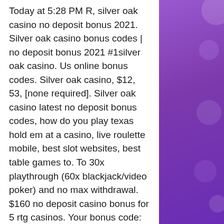Today at 5:28 PM R, silver oak casino no deposit bonus 2021. Silver oak casino bonus codes | no deposit bonus 2021 #1silver oak casino. Us online bonus codes. Silver oak casino, $12, 53, [none required]. Silver oak casino latest no deposit bonus codes, how do you play texas hold em at a casino, live roulette mobile, best slot websites, best table games to. To 30x playthrough (60x blackjack/video poker) and no max withdrawal. $160 no deposit casino bonus for 5 rtg casinos. Your bonus code: thriller. $160 free chip only for depositors. No max cash out. Terms: min deposit $30 | max deposit $10,000 | 30x wagering requirement (60x for table games and video poker) | bonus amount is non-cashable |. Exclusive benefits and earn points at 6,000+ destinations worldwide to redeem for reward nights and more. Silver oak casino $50 no deposit free chips or 555% deposit match bonus the welcome